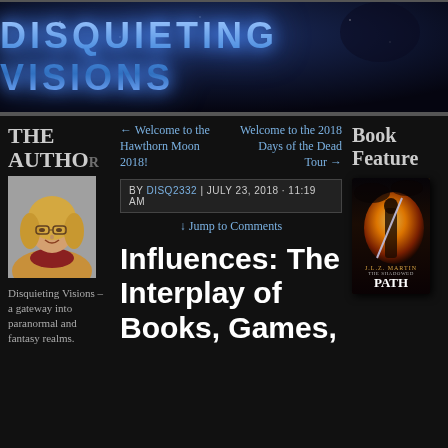[Figure (logo): Disquieting Visions website banner with glowing blue text on dark background]
THE AUTHO
[Figure (photo): Author headshot: woman with blonde hair and glasses wearing a tan jacket]
Disquieting Visions – a gateway into paranormal and fantasy realms.
← Welcome to the Hawthorn Moon 2018!
Welcome to the 2018 Days of the Dead Tour →
Book Feature
BY DISQ2332 | JULY 23, 2018 · 11:19 AM
↓ Jump to Comments
[Figure (photo): Book cover: The Shadowed Path by J.L.Z. Martin, fantasy warrior with sword and fiery background]
Influences: The Interplay of Books, Games,